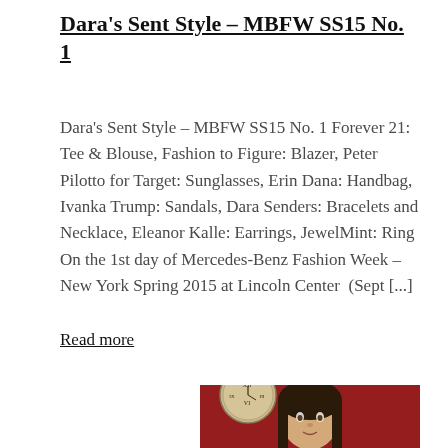Dara's Sent Style – MBFW SS15 No. 1
Dara's Sent Style – MBFW SS15 No. 1 Forever 21: Tee & Blouse, Fashion to Figure: Blazer, Peter Pilotto for Target: Sunglasses, Erin Dana: Handbag, Ivanka Trump: Sandals, Dara Senders: Bracelets and Necklace, Eleanor Kalle: Earrings, JewelMint: Ring On the 1st day of Mercedes-Benz Fashion Week – New York Spring 2015 at Lincoln Center  (Sept [...]
Read more
[Figure (photo): Partial photo of a woman in front of a red wall with a clock visible in the background, cropped at the bottom of the page]